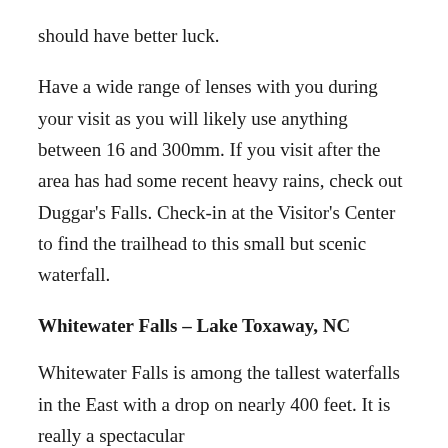should have better luck.
Have a wide range of lenses with you during your visit as you will likely use anything between 16 and 300mm. If you visit after the area has had some recent heavy rains, check out Duggar's Falls. Check-in at the Visitor's Center to find the trailhead to this small but scenic waterfall.
Whitewater Falls – Lake Toxaway, NC
Whitewater Falls is among the tallest waterfalls in the East with a drop on nearly 400 feet. It is really a spectacular waterfall, [PREMIUM CONTENT] s are located about 9 mi US 64 and NC281 a bit west of Lake Toxaway, NC.
[Figure (other): Premium content badge overlay — black pill-shaped button with person/account icon and text 'PREMIUM CONTENT' in white on dark background]